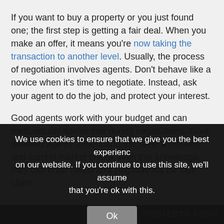If you want to buy a property or you just found one; the first step is getting a fair deal. When you make an offer, it means you're now taking the transaction to another level. Usually, the process of negotiation involves agents. Don't behave like a novice when it's time to negotiate. Instead, ask your agent to do the job, and protect your interest.
Good agents work with your budget and can meticulously advise you during negotiations. Goal-oriented agents understand the seller's motives and current market prices. With this knowledge, they can enter favourable negotiations for their client.
We use cookies to ensure that we give you the best experience on our website. If you continue to use this site, we'll assume that you're ok with this.
Ok
PROTECTS YOUR